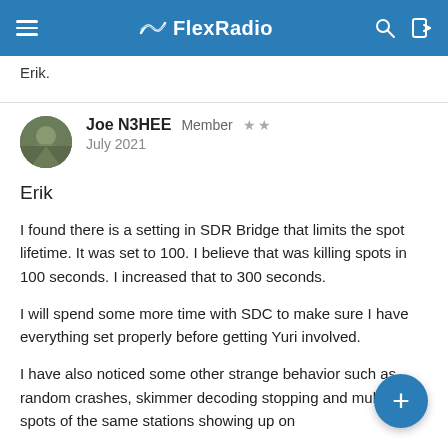FlexRadio
Erik.
Joe N3HEE  Member  ★★
July 2021
Erik
I found there is a setting in SDR Bridge that limits the spot lifetime. It was set to 100. I believe that was killing spots in 100 seconds. I increased that to 300 seconds.
I will spend some more time with SDC to make sure I have everything set properly before getting Yuri involved.
I have also noticed some other strange behavior such as random crashes, skimmer decoding stopping and multiple spots of the same stations showing up on